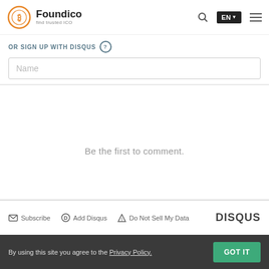Foundico – find trusted ICO
OR SIGN UP WITH DISQUS
Name
Be the first to comment.
Subscribe  Add Disqus  Do Not Sell My Data  DISQUS
By using this site you agree to the Privacy Policy.  GOT IT